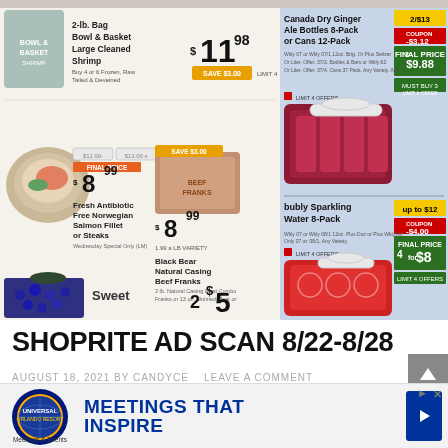[Figure (photo): ShopRite grocery store advertisement scan showing weekly deals including: 2-lb. Bag Bowl & Basket Large Cleaned Shrimp $11.98, Fresh Antibiotic Free Norwegian Salmon Fillet or Steaks $8.99, Black Bear Natural Casing Beef Franks $8.99, Sweet item 2 for $5, Canada Dry Ginger Ale Bottles 8-Pack or Cans 12-Pack 3 for $9.88, bubly Sparkling Water 8-Pack 4 for $8]
SHOPRITE AD SCAN 8/22-8/28
AUGUST 18, 2021 BY CANDYCE   LEAVE A COMMENT
[Figure (other): Universal Orlando Resort Meetings & Events advertisement banner: 'MEETINGS THAT INSPIRE' with Universal globe logo]